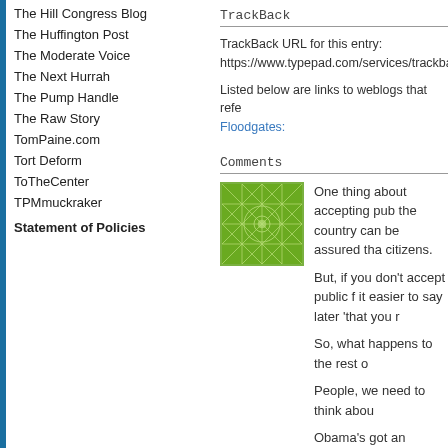The Hill Congress Blog
The Huffington Post
The Moderate Voice
The Next Hurrah
The Pump Handle
The Raw Story
TomPaine.com
Tort Deform
ToTheCenter
TPMmuckraker
Statement of Policies
TrackBack
TrackBack URL for this entry:
https://www.typepad.com/services/trackba
Listed below are links to weblogs that refe
Floodgates:
Comments
[Figure (illustration): Green geometric snowflake/lattice pattern thumbnail image]
One thing about accepting pub the country can be assured tha citizens.
But, if you don't accept public f it easier to say later 'that you r
So, what happens to the rest o
People, we need to think abou
Obama's got an attitude and th McCain'!